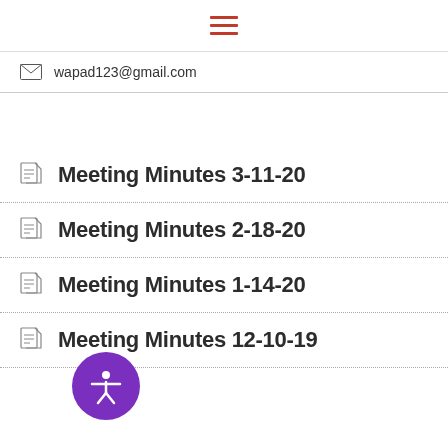☰
wapad123@gmail.com
Meeting Minutes 3-11-20
Meeting Minutes 2-18-20
Meeting Minutes 1-14-20
Meeting Minutes 12-10-19